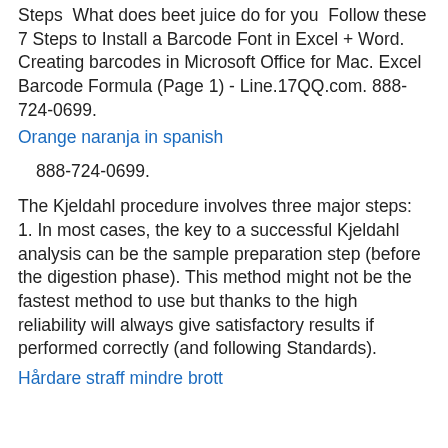Steps  What does beet juice do for you  Follow these 7 Steps to Install a Barcode Font in Excel + Word. Creating barcodes in Microsoft Office for Mac. Excel Barcode Formula (Page 1) - Line.17QQ.com. 888-724-0699.
Orange naranja in spanish
888-724-0699.
The Kjeldahl procedure involves three major steps: 1. In most cases, the key to a successful Kjeldahl analysis can be the sample preparation step (before the digestion phase). This method might not be the fastest method to use but thanks to the high reliability will always give satisfactory results if performed correctly (and following Standards).
Hårdare straff mindre brott